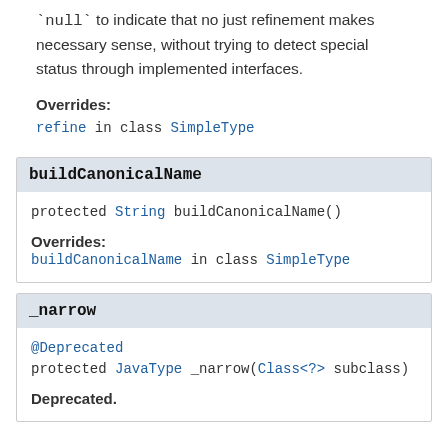`null` to indicate that no just refinement makes necessary sense, without trying to detect special status through implemented interfaces.
Overrides:
refine in class SimpleType
buildCanonicalName
protected String buildCanonicalName()
Overrides:
buildCanonicalName in class SimpleType
_narrow
@Deprecated
protected JavaType _narrow(Class<?> subclass)
Deprecated.